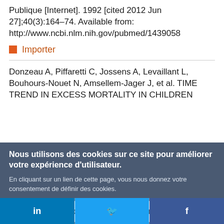Publique [Internet]. 1992 [cited 2012 Jun 27];40(3):164–74. Available from: http://www.ncbi.nlm.nih.gov/pubmed/1439058
Importer
Donzeau A, Piffaretti C, Jossens A, Levaillant L, Bouhours-Nouet N, Amsellem-Jager J, et al. TIME TREND IN EXCESS MORTALITY IN CHILDREN
Nous utilisons des cookies sur ce site pour améliorer votre expérience d'utilisateur. En cliquant sur un lien de cette page, vous nous donnez votre consentement de définir des cookies.
Oui, je suis d'accord
Plus d'infos
in  Twitter  f